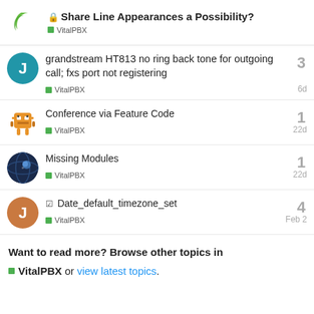🔒 Share Line Appearances a Possibility? — VitalPBX
grandstream HT813 no ring back tone for outgoing call; fxs port not registering — VitalPBX — 6d — replies: 3
Conference via Feature Code — VitalPBX — 22d — replies: 1
Missing Modules — VitalPBX — 22d — replies: 1
☑ Date_default_timezone_set — VitalPBX — Feb 2 — replies: 4
Want to read more? Browse other topics in VitalPBX or view latest topics.